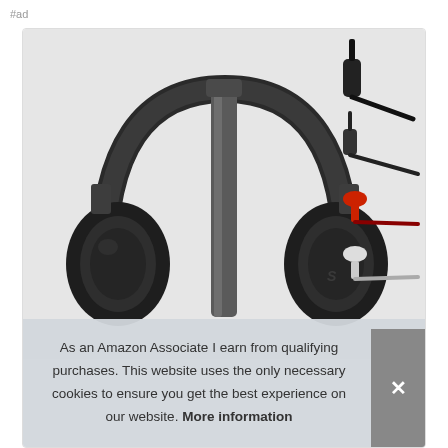#ad
[Figure (photo): Product photo of black over-ear wireless headphones on a charging stand/dock, with three audio cables shown in the upper right (optical, 3.5mm, and RCA red/white connectors). Background is light grey.]
As an Amazon Associate I earn from qualifying purchases. This website uses the only necessary cookies to ensure you get the best experience on our website. More information